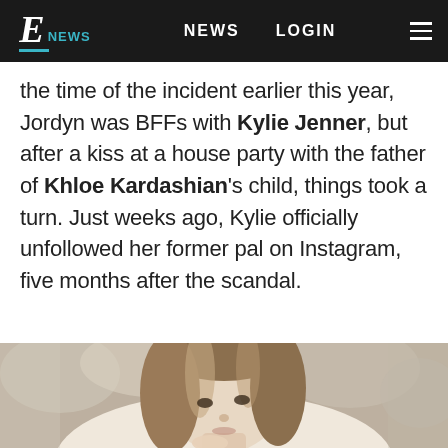E NEWS | NEWS | LOGIN
the time of the incident earlier this year, Jordyn was BFFs with Kylie Jenner, but after a kiss at a house party with the father of Khloe Kardashian's child, things took a turn. Just weeks ago, Kylie officially unfollowed her former pal on Instagram, five months after the scandal.
Continue Reading
Taboola Feed
[Figure (photo): A woman with straight brown/blonde hair looking upward, photographed outdoors with a blurred background.]